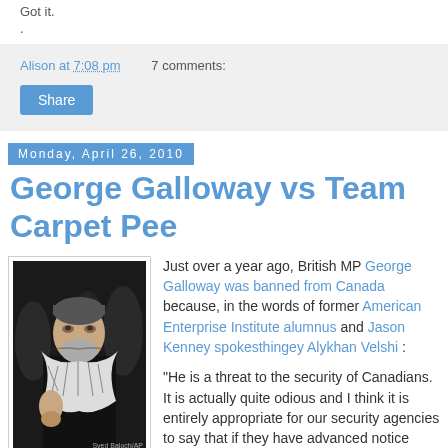Got it.
.
Alison at 7:08 pm   7 comments:
Share
Monday, April 26, 2010
George Galloway vs Team Carpet Pee
[Figure (photo): Photo of George Galloway surrounded by people, wearing a keffiyeh scarf]
Just over a year ago, British MP George Galloway was banned from Canada because, in the words of former American Enterprise Institute alumnus and Jason Kenney spokesthingey Alykhan Velshi :

"He is a threat to the security of Canadians. It is actually quite odious and I think it is entirely appropriate for our security agencies to say that if they have advanced notice